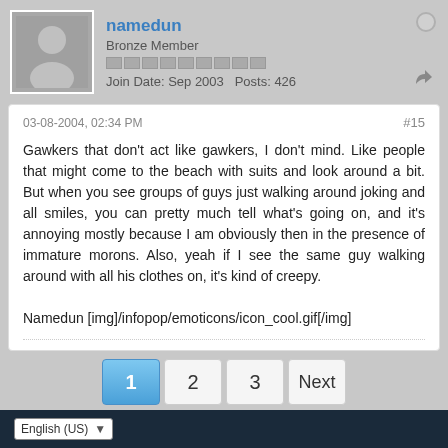namedun
Bronze Member
Join Date: Sep 2003   Posts: 426
03-08-2004, 02:34 PM
#15
Gawkers that don't act like gawkers, I don't mind. Like people that might come to the beach with suits and look around a bit. But when you see groups of guys just walking around joking and all smiles, you can pretty much tell what's going on, and it's annoying mostly because I am obviously then in the presence of immature morons. Also, yeah if I see the same guy walking around with all his clothes on, it's kind of creepy.

Namedun [img]/infopop/emoticons/icon_cool.gif[/img]
1  2  3  Next
English (US)